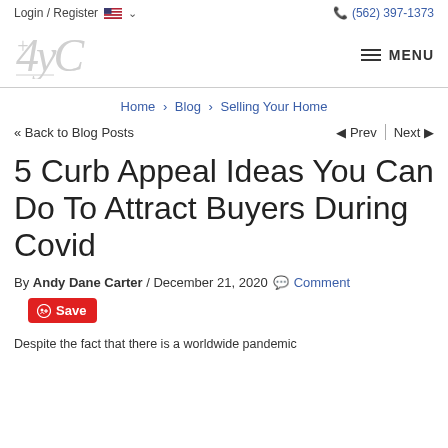Login / Register   (562) 397-1373
[Figure (logo): 4yC real estate company logo in light gray italic script]
Home > Blog > Selling Your Home
<< Back to Blog Posts   Prev | Next
5 Curb Appeal Ideas You Can Do To Attract Buyers During Covid
By Andy Dane Carter / December 21, 2020  Comment
Save
Despite the fact that there is a worldwide pandemic